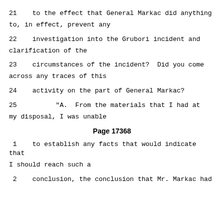21    to the effect that General Markac did anything to, in effect, prevent any
22    investigation into the Grubori incident and clarification of the
23    circumstances of the incident?  Did you come across any traces of this
24    activity on the part of General Markac?
25          "A.  From the materials that I had at my disposal, I was unable
Page 17368
1     to establish any facts that would indicate that I should reach such a
2     conclusion, the conclusion that Mr. Markac had